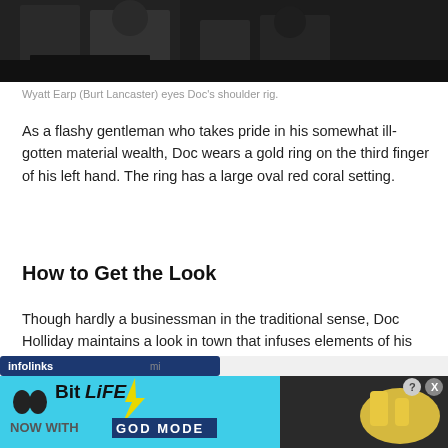[Figure (photo): Dark cinematic still showing two figures at a table, partially visible at top of page]
Wyatt Earp (Burt Lancaster) eyes Doc's shoulder rig.
As a flashy gentleman who takes pride in his somewhat ill-gotten material wealth, Doc wears a gold ring on the third finger of his left hand. The ring has a large oval red coral setting.
How to Get the Look
Though hardly a businessman in the traditional sense, Doc Holliday maintains a look in town that infuses elements of his flamboyant personality with conservative business dress.
[Figure (screenshot): BitLife advertisement banner with blue background showing 'NOW WITH GOD MODE' text and cartoon hand pointing finger. Infolinks ad label at top.]